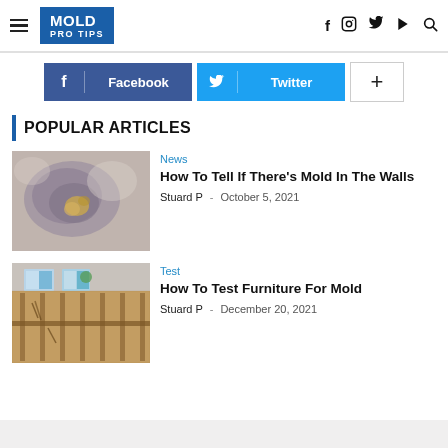MOLD PRO TIPS — navigation header with logo, hamburger menu, and social icons (f, Instagram, Twitter, YouTube, Search)
Facebook | Twitter | +
POPULAR ARTICLES
[Figure (photo): Close-up photo of a wall showing mold growth with discoloration — purple-gray area with yellow-brown spots]
News
How To Tell If There's Mold In The Walls
Stuard P · October 5, 2021
[Figure (photo): Interior photo of a room with wood-framed walls partially stripped, showing structural framing and two windows]
Test
How To Test Furniture For Mold
Stuard P · December 20, 2021